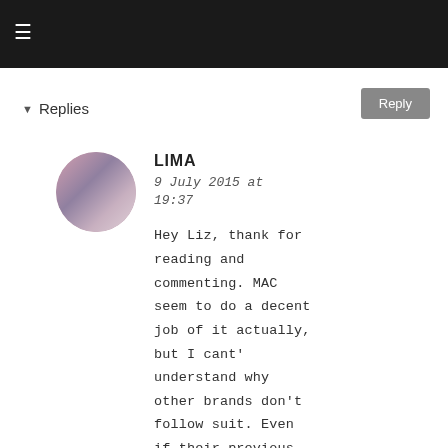≡
Reply
▾ Replies
LIMA
9 July 2015 at 19:37
Hey Liz, thank for reading and commenting. MAC seem to do a decent job of it actually, but I cant' understand why other brands don't follow suit. Even if their previous offerings in the